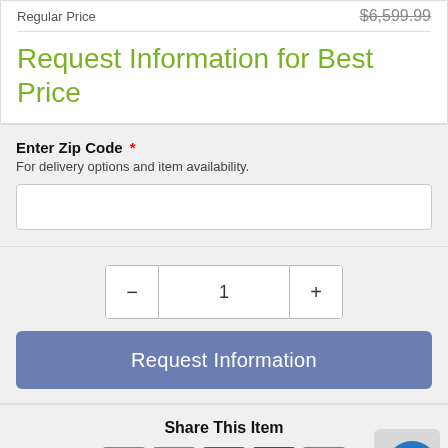Regular Price    $6,599.99
Request Information for Best Price
Enter Zip Code *
For delivery options and item availability.
1
Request Information
Share This Item